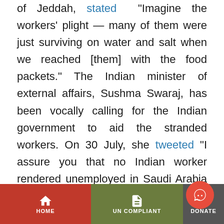of Jeddah, stated "Imagine the workers' plight — many of them were just surviving on water and salt when we reached [them] with the food packets." The Indian minister of external affairs, Sushma Swaraj, has been vocally calling for the Indian government to aid the stranded workers. On 30 July, she tweeted "I assure you that no Indian worker rendered unemployed in Saudi Arabia will go without food. I am monitoring this on hourly basis."

The Indian consulate in Jeddah is currently attempting to repatriate the workers and force Saudi companies to pay
HOME | UN COMPLIANT | DONATE